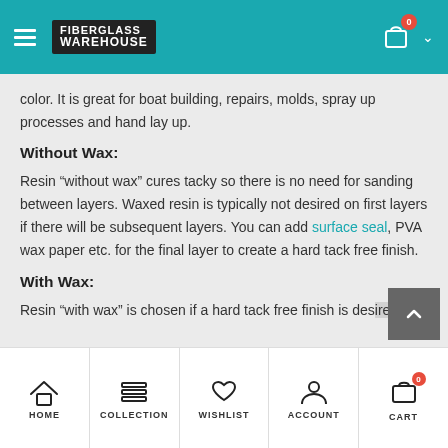Fiberglass Warehouse – navigation header
color. It is great for boat building, repairs, molds, spray up processes and hand lay up.
Without Wax:
Resin “without wax” cures tacky so there is no need for sanding between layers. Waxed resin is typically not desired on first layers if there will be subsequent layers. You can add surface seal, PVA wax paper etc. for the final layer to create a hard tack free finish.
With Wax:
Resin “with wax” is chosen if a hard tack free finish is desired.
HOME  COLLECTION  WISHLIST  ACCOUNT  CART